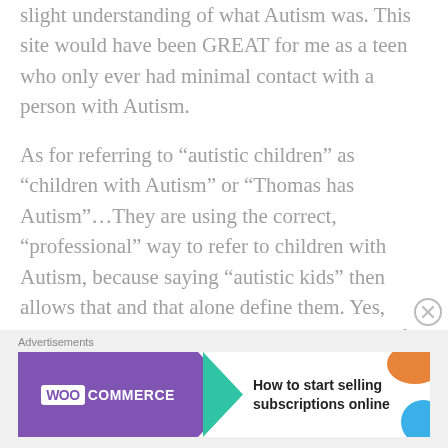slight understanding of what Autism was. This site would have been GREAT for me as a teen who only ever had minimal contact with a person with Autism.
As for referring to “autistic children” as “children with Autism” or “Thomas has Autism”…They are using the correct, “professional” way to refer to children with Autism, because saying “autistic kids” then allows that and that alone define them. Yes, however, in reality it is not the way we identify someone as having Autism in everyday conversation.
Advertisements
[Figure (other): WooCommerce advertisement banner: purple background with WooCommerce logo, green arrow, orange and blue decorative shapes, text 'How to start selling subscriptions online']